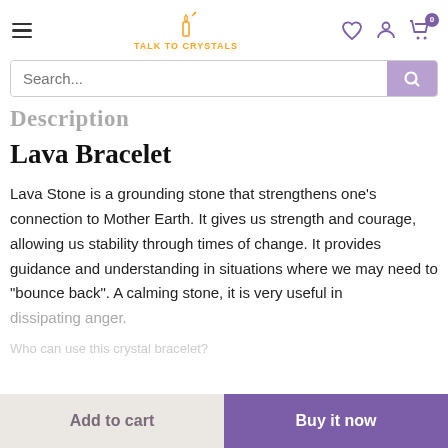Talk To Crystals — navigation header with logo, search, wishlist, account, and cart icons
Description
Lava Bracelet
Lava Stone is a grounding stone that strengthens one's connection to Mother Earth. It gives us strength and courage, allowing us stability through times of change. It provides guidance and understanding in situations where we may need to "bounce back". A calming stone, it is very useful in dissipating anger.
Who can use this crystal bracelet?